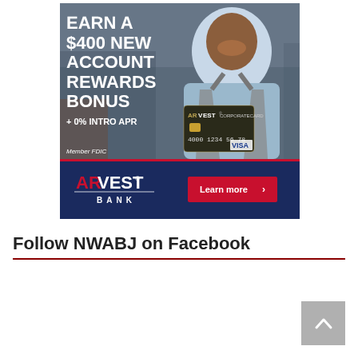[Figure (illustration): Arvest Bank advertisement banner. Top half shows a smiling man in an apron (shop owner) with bold white text overlay reading 'EARN A $400 NEW ACCOUNT REWARDS BONUS + 0% INTRO APR' and 'Member FDIC'. An Arvest Corporate Card (Visa) is shown in the lower right of the photo. Bottom half is dark navy blue with Arvest Bank logo on left and a red 'Learn more >' button on right.]
Follow NWABJ on Facebook